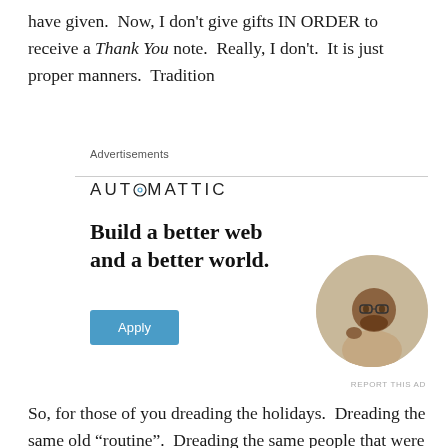have given.  Now, I don't give gifts IN ORDER to receive a Thank You note.  Really, I don't.  It is just proper manners.  Tradition
Advertisements
[Figure (infographic): Automattic advertisement: logo with circular 'O' symbol, tagline 'Build a better web and a better world.', an Apply button in blue, and a circular photo of a man thinking.]
REPORT THIS AD
So, for those of you dreading the holidays.  Dreading the same old “routine”.  Dreading the same people that were